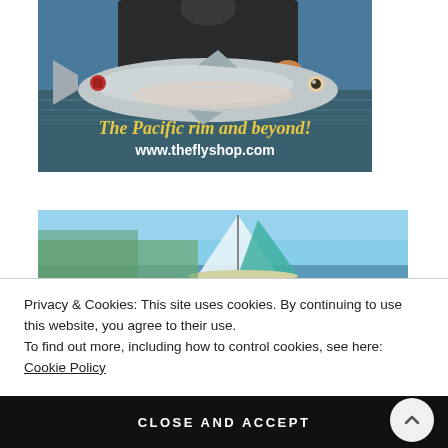[Figure (photo): Advertisement photo: A person in dark jacket holding a large salmon fish over water, with text overlay 'The Pacific rim and beyond!' in yellow and 'www.theflyshop.com' in white]
[Figure (photo): Partial advertisement photo: Blue sky and what appears to be a sailboat, partially obscured by cookie consent banner]
Privacy & Cookies: This site uses cookies. By continuing to use this website, you agree to their use.
To find out more, including how to control cookies, see here: Cookie Policy
CLOSE AND ACCEPT